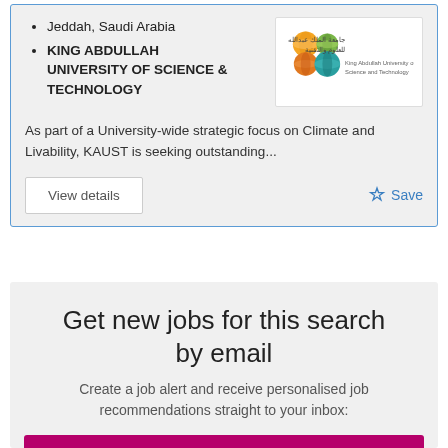Jeddah, Saudi Arabia
KING ABDULLAH UNIVERSITY OF SCIENCE & TECHNOLOGY
[Figure (logo): KAUST logo with colorful spheres and Arabic and English text: King Abdullah University of Science and Technology]
As part of a University-wide strategic focus on Climate and Livability, KAUST is seeking outstanding...
View details
Save
Get new jobs for this search by email
Create a job alert and receive personalised job recommendations straight to your inbox:
Create alert